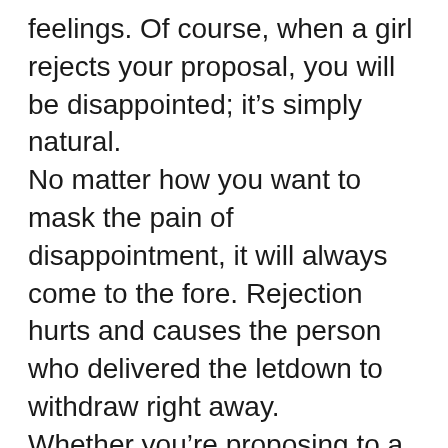feelings. Of course, when a girl rejects your proposal, you will be disappointed; it's simply natural.
No matter how you want to mask the pain of disappointment, it will always come to the fore. Rejection hurts and causes the person who delivered the letdown to withdraw right away.
Whether you're proposing to a woman, asking a new acquaintance out on a date, or even sending a romantic hookup request in the middle of the night on a dating site for love, sex… you name it, it all revolves around a